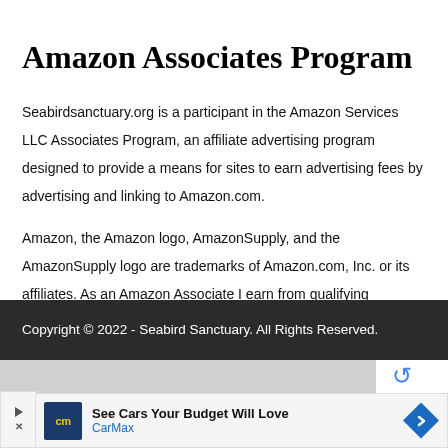Amazon Associates Program
Seabirdsanctuary.org is a participant in the Amazon Services LLC Associates Program, an affiliate advertising program designed to provide a means for sites to earn advertising fees by advertising and linking to Amazon.com.
Amazon, the Amazon logo, AmazonSupply, and the AmazonSupply logo are trademarks of Amazon.com, Inc. or its affiliates. As an Amazon Associate I earn from qualifying purchases.
Copyright © 2022 - Seabird Sanctuary. All Rights Reserved.